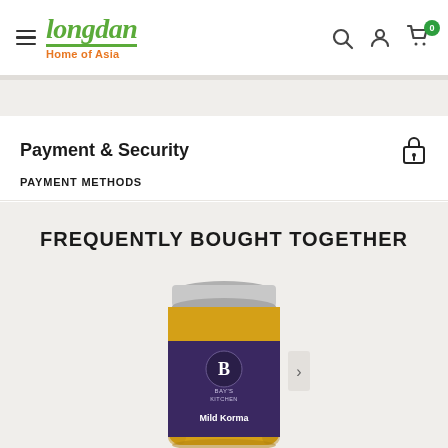Longdan — Home of Asia
Payment & Security
PAYMENT METHODS
FREQUENTLY BOUGHT TOGETHER
[Figure (photo): Jar of Bay's Kitchen Mild Korma sauce with a silver lid and dark purple label]